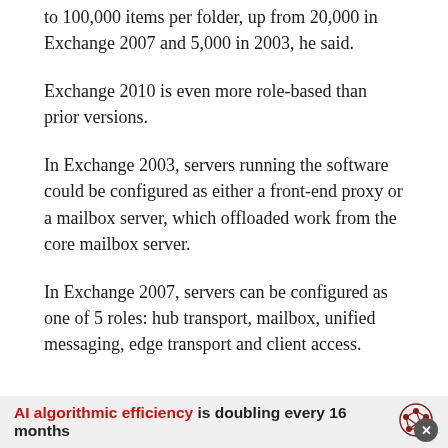to 100,000 items per folder, up from 20,000 in Exchange 2007 and 5,000 in 2003, he said.
Exchange 2010 is even more role-based than prior versions.
In Exchange 2003, servers running the software could be configured as either a front-end proxy or a mailbox server, which offloaded work from the core mailbox server.
In Exchange 2007, servers can be configured as one of 5 roles: hub transport, mailbox, unified messaging, edge transport and client access.
AI algorithmic efficiency is doubling every 16 months